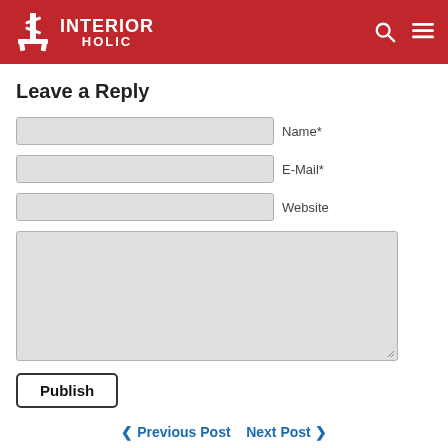INTERIOR HOLIC
Leave a Reply
Name*
E-Mail*
Website
Publish
< Previous Post   Next Post >